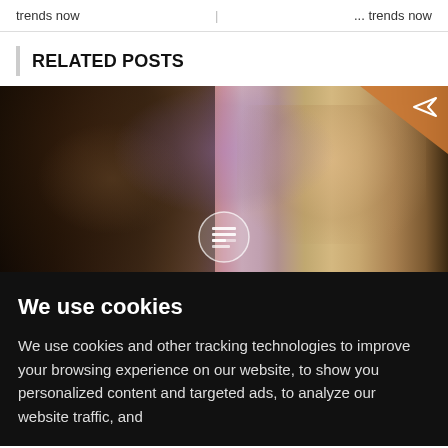trends now ... trends now
RELATED POSTS
[Figure (photo): Two people facing the camera — one with dreadlocks on the left, one with short blonde/grey hair on the right. A circular article icon overlay appears at center-bottom. An orange triangle with a send/share icon appears in the top-right corner.]
We use cookies
We use cookies and other tracking technologies to improve your browsing experience on our website, to show you personalized content and targeted ads, to analyze our website traffic, and